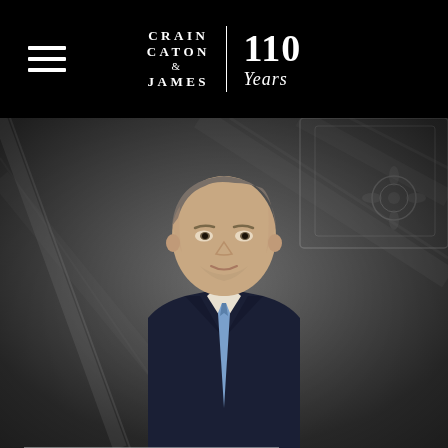Crain Caton & James | 110 Years
[Figure (photo): Professional headshot of a middle-aged man in a dark navy suit with a light blue tie and white dress shirt, smiling slightly, set against a blurred monochrome architectural background with ornate ceiling details.]